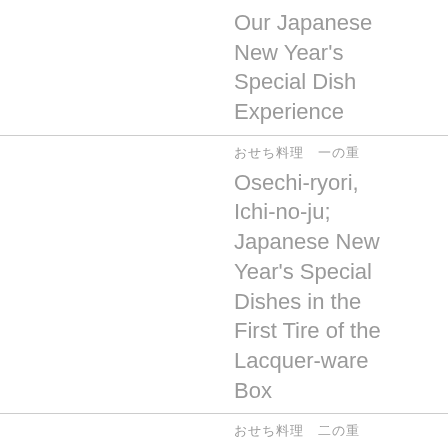Our Japanese New Year's Special Dish Experience
おせち料理　一の重
Osechi-ryori, Ichi-no-ju; Japanese New Year's Special Dishes in the First Tire of the Lacquer-ware Box
おせち料理　二の重